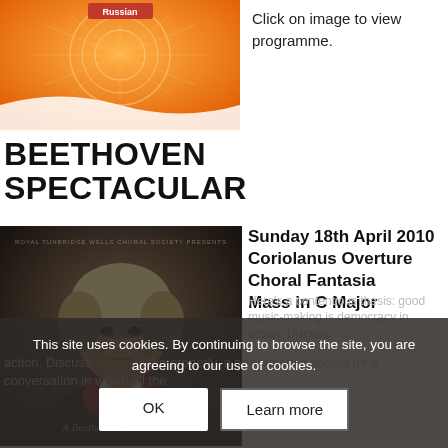[Figure (illustration): Orange decorative concert programme cover with Russian text and floral mandala pattern]
Click on image to view programme.
BEETHOVEN SPECTACULAR
[Figure (photo): Portrait painting of Ludwig van Beethoven with dark background, serious expression, white collar]
Sunday 18th April 2010
Coriolanus Overture
Choral Fantasia
Mass in C Major
This site uses cookies. By continuing to browse the site, you are agreeing to our use of cookies.
A Beethoven Spectacular...
Here's a contentious thesis: good music-making is democracy in action. Discuss.
...s the properly, a performance should be a conversation in which all the